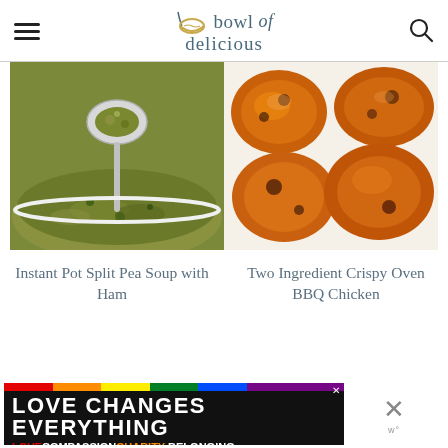bowl of delicious
[Figure (photo): A spoon lifting split pea soup with ham from a white bowl, close-up shot showing thick green soup.]
[Figure (photo): Crispy BBQ chicken thighs on a white plate, golden-brown with charred spots.]
Instant Pot Split Pea Soup with Ham
Two Ingredient Crispy Oven BBQ Chicken
[Figure (other): Advertisement banner: LOVE CHANGES EVERYTHING with rainbow strip and subtext LOVE COMPASSION CHARITY BELONGING]